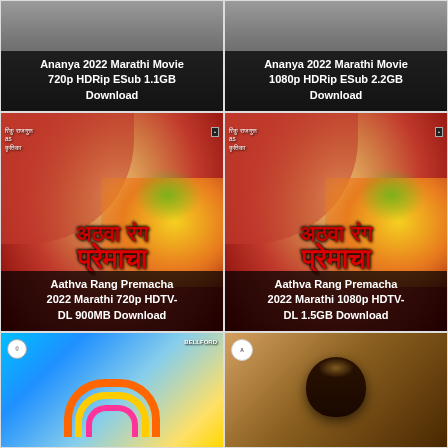[Figure (photo): Ananya 2022 Marathi Movie 720p HDRip ESub 1.1GB Download - movie card with dark background]
[Figure (photo): Ananya 2022 Marathi Movie 1080p HDRip ESub 2.2GB Download - movie card with dark background]
[Figure (photo): Aathva Rang Premacha 2022 Marathi 720p HDTV-DL 900MB Download - Marathi movie poster with woman's face and Devanagari text]
[Figure (photo): Aathva Rang Premacha 2022 Marathi 1080p HDTV-DL 1.5GB Download - Marathi movie poster with woman's face and Devanagari text]
[Figure (photo): Partial movie card bottom left - colorful poster with blue and yellow background]
[Figure (photo): Partial movie card bottom right - dark brown background with food/object]